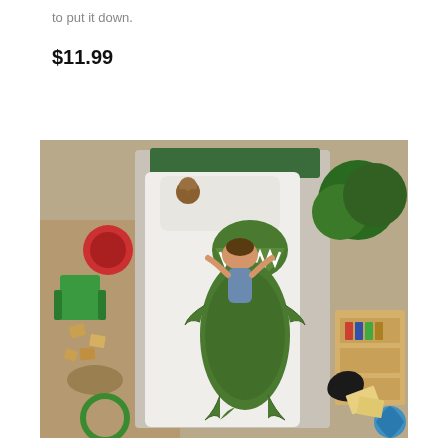to put it down.
$11.99
[Figure (photo): Aerial view of a child's bedroom with a bed featuring a dinosaur (T-Rex) duvet cover. A child lies on the bed appearing to be grabbed by the printed T-Rex. Surrounding the bed are toys, a green chair, wooden blocks, baskets, a bookshelf, and a large plant.]